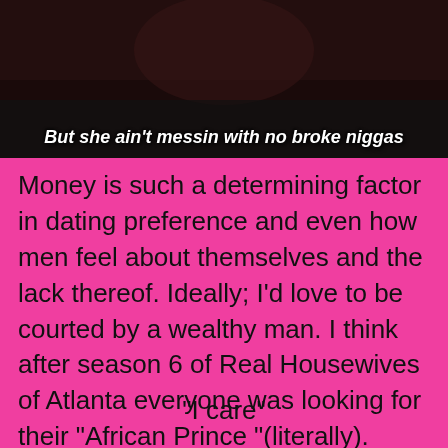[Figure (photo): Dark background image (appears to be a person in low light) with overlaid italic bold white text caption at the bottom]
But she ain't messin with no broke niggas
Money is such a determining factor in dating preference and even how men feel about themselves and the lack thereof. Ideally; I'd love to be courted by a wealthy man. I think after season 6 of Real Housewives of Atlanta everyone was looking for their “African Prince ”(literally). Truthfully, I don’t care about how much money a man has. In fact it prompted me to write a poem called:
“I care”